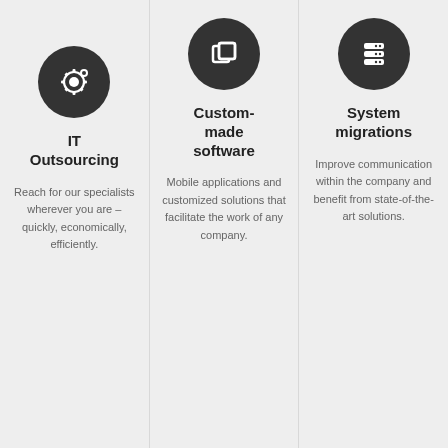[Figure (illustration): Dark circle icon with a stylized cog/gear and dots symbol representing IT Outsourcing]
IT Outsourcing
Reach for our specialists wherever you are – quickly, economically, efficiently.
[Figure (illustration): Dark circle icon with two overlapping squares/windows symbol representing Custom-made software]
Custom-made software
Mobile applications and customized solutions that facilitate the work of any company.
[Figure (illustration): Dark circle icon with stacked server/database layers symbol representing System migrations]
System migrations
Improve communication within the company and benefit from state-of-the-art solutions.